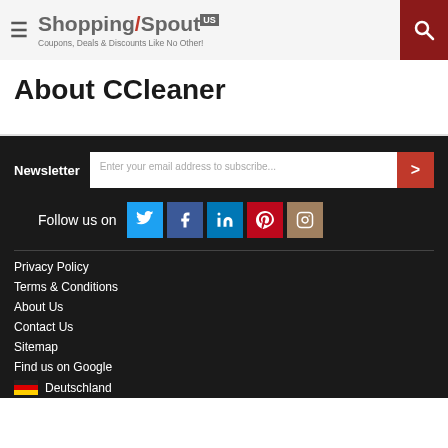ShoppingSpout US — Coupons, Deals & Discounts Like No Other!
About CCleaner
Newsletter — Enter your email address to subscribe...
Follow us on [Twitter, Facebook, LinkedIn, Pinterest, Instagram]
Privacy Policy
Terms & Conditions
About Us
Contact Us
Sitemap
Find us on Google
Deutschland